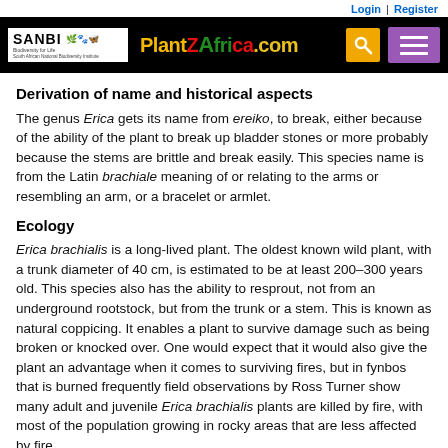Login | Register
[Figure (logo): SANBI and PlantZAfrica.com navigation bar with search and menu icons]
Derivation of name and historical aspects
The genus Erica gets its name from ereiko, to break, either because of the ability of the plant to break up bladder stones or more probably because the stems are brittle and break easily. This species name is from the Latin brachiale meaning of or relating to the arms or resembling an arm, or a bracelet or armlet.
Ecology
Erica brachialis is a long-lived plant. The oldest known wild plant, with a trunk diameter of 40 cm, is estimated to be at least 200–300 years old. This species also has the ability to resprout, not from an underground rootstock, but from the trunk or a stem. This is known as natural coppicing. It enables a plant to survive damage such as being broken or knocked over. One would expect that it would also give the plant an advantage when it comes to surviving fires, but in fynbos that is burned frequently field observations by Ross Turner show many adult and juvenile Erica brachialis plants are killed by fire, with most of the population growing in rocky areas that are less affected by fire.